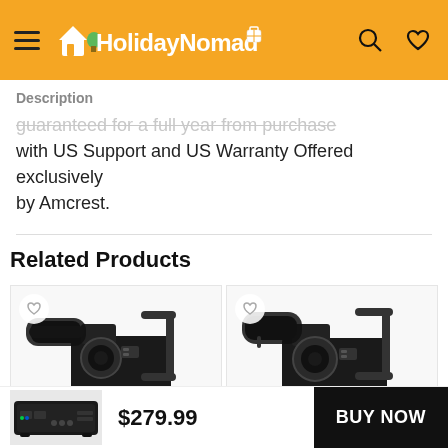HolidayNomad
Description
guaranteed for a full year from purchase with US Support and US Warranty Offered exclusively by Amcrest.
Related Products
[Figure (photo): Camera rig product with microphone and cage handle - left product card]
[Figure (photo): Camera rig product with microphone and cage handle - right product card]
[Figure (photo): DVR device shown in bottom purchase bar]
$279.99
BUY NOW